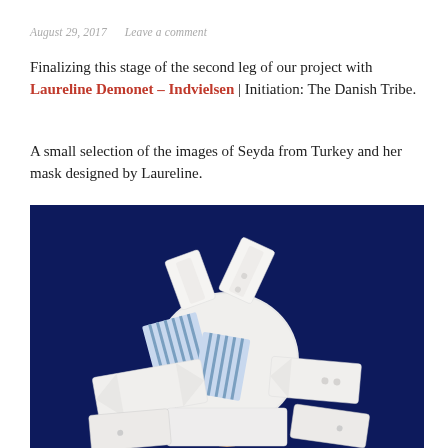August 29, 2017   Leave a comment
Finalizing this stage of the second leg of our project with Laureline Demonet – Indvielsen | Initiation: The Danish Tribe.
A small selection of the images of Seyda from Turkey and her mask designed by Laureline.
[Figure (photo): Photo of a person (Seyda) with a sculptural mask made of white shirt collars and blue striped fabric pieces arranged on their head against a dark navy blue background.]